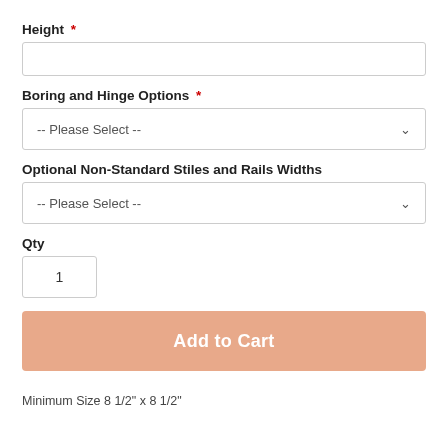Height *
Boring and Hinge Options *
-- Please Select --
Optional Non-Standard Stiles and Rails Widths
-- Please Select --
Qty
1
Add to Cart
Minimum Size 8 1/2" x 8 1/2"